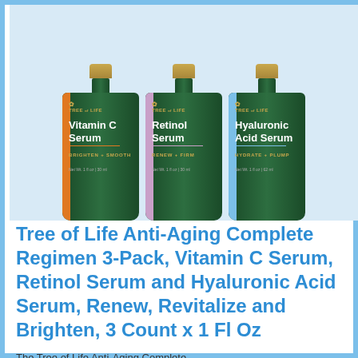[Figure (photo): Three Tree of Life serum bottles (Vitamin C Serum with orange stripe, Retinol Serum with pink/lavender stripe, Hyaluronic Acid Serum with light blue stripe) arranged side by side against a light blue background. Each bottle has a gold pump cap, dark green glass, gold Tree of Life logo, white product name text, gold tagline text, and 'Net Wt. 1 fl oz | 30 ml' label.]
Tree of Life Anti-Aging Complete Regimen 3-Pack, Vitamin C Serum, Retinol Serum and Hyaluronic Acid Serum, Renew, Revitalize and Brighten, 3 Count x 1 Fl Oz
The Tree of Life Anti-Aging Complete